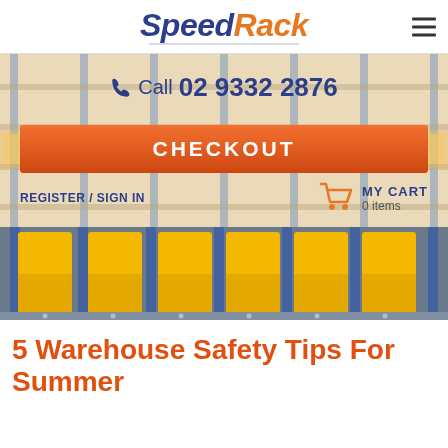SpeedRack
[Figure (screenshot): Warehouse shelving with yellow storage bins, used as hero background image for SpeedRack website]
Call 02 9332 2876
CHECKOUT
REGISTER / SIGN IN
MY CART 0 items
5 Warehouse Safety Tips For Summer